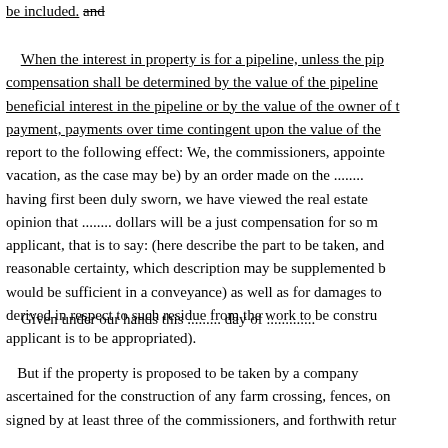be included. and
When the interest in property is for a pipeline, unless the pip compensation shall be determined by the value of the pipeline beneficial interest in the pipeline or by the value of the owner of t payment, payments over time contingent upon the value of the report to the following effect: We, the commissioners, appointe vacation, as the case may be) by an order made on the ........ having first been duly sworn, we have viewed the real estate opinion that ........ dollars will be a just compensation for so m applicant, that is to say: (here describe the part to be taken, and reasonable certainty, which description may be supplemented b would be sufficient in a conveyance) as well as for damages to derived in respect to such residue from the work to be constru applicant is to be appropriated).
Given under our hands this ......... day of .............
But if the property is proposed to be taken by a company ascertained for the construction of any farm crossing, fences, on signed by at least three of the commissioners, and forthwith retur